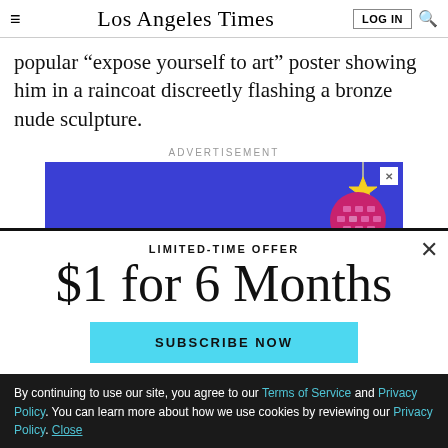Los Angeles Times
popular "expose yourself to art" poster showing him in a raincoat discreetly flashing a bronze nude sculpture.
ADVERTISEMENT
[Figure (illustration): Blue advertisement banner with disco ball and star graphic]
LIMITED-TIME OFFER
$1 for 6 Months
SUBSCRIBE NOW
By continuing to use our site, you agree to our Terms of Service and Privacy Policy. You can learn more about how we use cookies by reviewing our Privacy Policy. Close